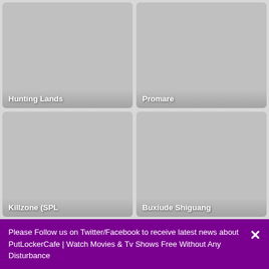[Figure (screenshot): Grid of four movie thumbnail cards: Hunting Lands, Promare, Killzone (SPL), Buxiude Shiguang — all shown as gray placeholder images with white title text at bottom-left of each card.]
Please Follow us on Twitter/Facebook to receive latest news about PutLockerCafe | Watch Movies & Tv Shows Free Without Any Disturbance